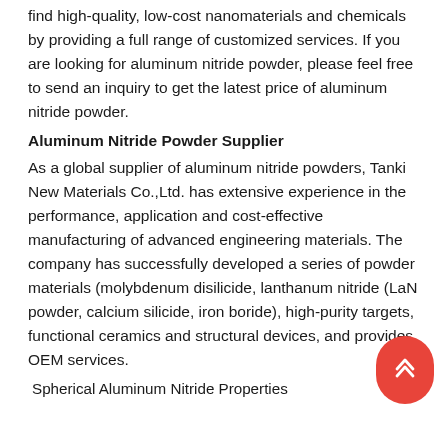find high-quality, low-cost nanomaterials and chemicals by providing a full range of customized services. If you are looking for aluminum nitride powder, please feel free to send an inquiry to get the latest price of aluminum nitride powder.
Aluminum Nitride Powder Supplier
As a global supplier of aluminum nitride powders, Tanki New Materials Co.,Ltd. has extensive experience in the performance, application and cost-effective manufacturing of advanced engineering materials. The company has successfully developed a series of powder materials (molybdenum disilicide, lanthanum nitride (LaN powder, calcium silicide, iron boride), high-purity targets, functional ceramics and structural devices, and provides OEM services.
Spherical Aluminum Nitride Properties